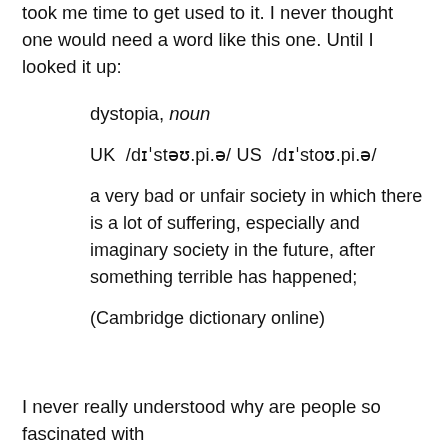took me time to get used to it. I never thought one would need a word like this one. Until I looked it up:
dystopia, noun
UK  /dɪˈstəʊ.pi.ə/ US  /dɪˈstoʊ.pi.ə/
a very bad or unfair society in which there is a lot of suffering, especially and imaginary society in the future, after something terrible has happened;
(Cambridge dictionary online)
I never really understood why are people so fascinated with